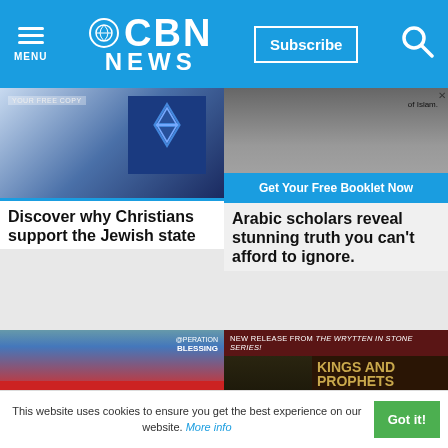CBN NEWS — Subscribe | Menu | Search
[Figure (photo): Advertisement with Star of David imagery and 'YOUR FREE COPY' text]
Discover why Christians support the Jewish state
[Figure (photo): Advertisement about Islam with 'Get Your Free Booklet Now' button]
Arabic scholars reveal stunning truth you can't afford to ignore.
[Figure (photo): Operation Blessing ad showing doctor treating child with 'GIVE HEALING' text]
[Figure (photo): Kings and Prophets DVD advertisement - Written in Stone series, new release]
This website uses cookies to ensure you get the best experience on our website. More info